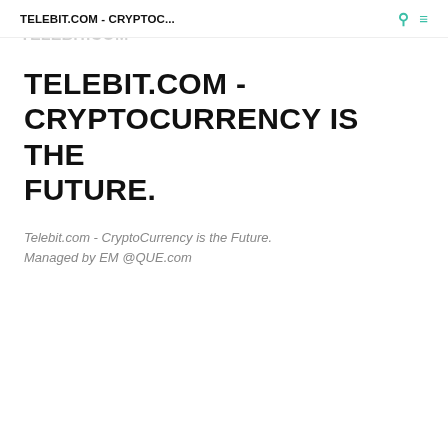TELEBIT.COM - CRYPTOC...
TELEBIT.COM - CRYPTOCURRENCY IS THE FUTURE.
Telebit.com - CryptoCurrency is the Future.
Managed by EM @QUE.com